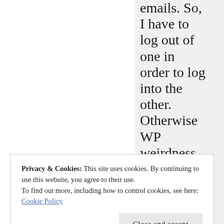emails. So, I have to log out of one in order to log into the other. Otherwise WP weirdness happens. Also my
Privacy & Cookies: This site uses cookies. By continuing to use this website, you agree to their use.
To find out more, including how to control cookies, see here: Cookie Policy
[Close and accept]
has made